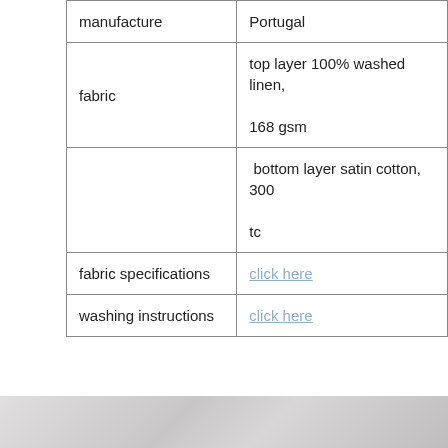| manufacture | Portugal |
| fabric | top layer 100% washed linen, 168 gsm |
|  | bottom layer satin cotton, 300 tc |
| fabric specifications | click here |
| washing instructions | click here |
[Figure (photo): Bottom strip showing a partial view of white bedding/linen product photo]